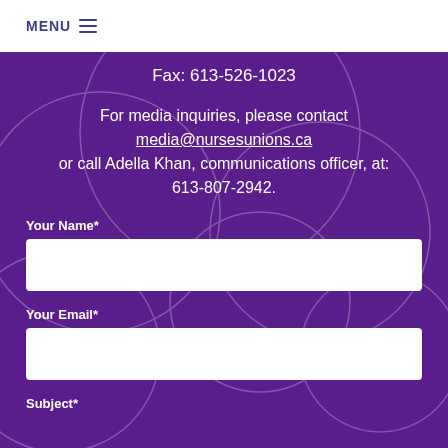MENU
Fax: 613-526-1023
For media inquiries, please contact media@nursesunions.ca or call Adella Khan, communications officer, at: 613-807-2942.
Your Name*
Your Email*
Subject*